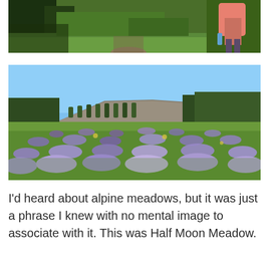[Figure (photo): Partial photo of a hiker with a pink/salmon backpack on a forest trail with green trees and foliage, cropped at top.]
[Figure (photo): Wide landscape photo of Half Moon Meadow: an open alpine meadow covered in purple wildflowers (lupines) in the foreground, with a broad flat-topped rocky hill and pine forest in the background under a clear blue sky.]
I'd heard about alpine meadows, but it was just a phrase I knew with no mental image to associate with it. This was Half Moon Meadow.